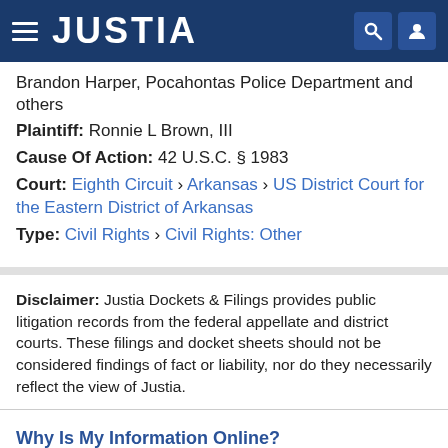JUSTIA
Brandon Harper, Pocahontas Police Department and others
Plaintiff: Ronnie L Brown, III
Cause Of Action: 42 U.S.C. § 1983
Court: Eighth Circuit › Arkansas › US District Court for the Eastern District of Arkansas
Type: Civil Rights › Civil Rights: Other
Disclaimer: Justia Dockets & Filings provides public litigation records from the federal appellate and district courts. These filings and docket sheets should not be considered findings of fact or liability, nor do they necessarily reflect the view of Justia.
Why Is My Information Online?